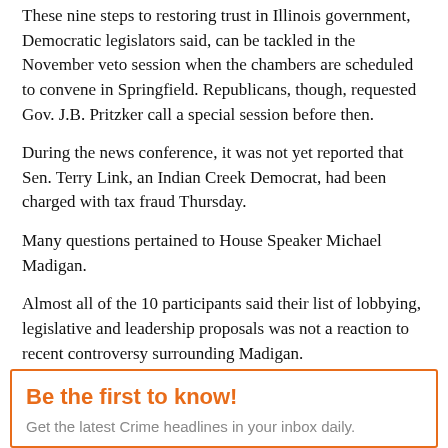These nine steps to restoring trust in Illinois government, Democratic legislators said, can be tackled in the November veto session when the chambers are scheduled to convene in Springfield. Republicans, though, requested Gov. J.B. Pritzker call a special session before then.
During the news conference, it was not yet reported that Sen. Terry Link, an Indian Creek Democrat, had been charged with tax fraud Thursday.
Many questions pertained to House Speaker Michael Madigan.
Almost all of the 10 participants said their list of lobbying, legislative and leadership proposals was not a reaction to recent controversy surrounding Madigan.
The Chicago Democrat was implicated in a federal investigation charging utility giant ComEd with one count of bribery. Madigan was also named in a potential class action lawsuit arguing the speaker and utility company should pay "at least" $450 million to almost 4 million Illinoisans affected by the alleged extortion scandal.
Be the first to know!
Get the latest Crime headlines in your inbox daily.